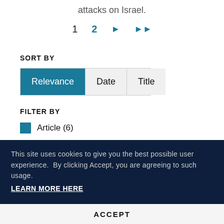attacks on Israel.
1  2  ▶  ▶▶
SORT BY
Relevance | Date | Title
FILTER BY
Article (6)
This site uses cookies to give you the best possible user experience.  By clicking Accept, you are agreeing to such usage.
LEARN MORE HERE
ACCEPT